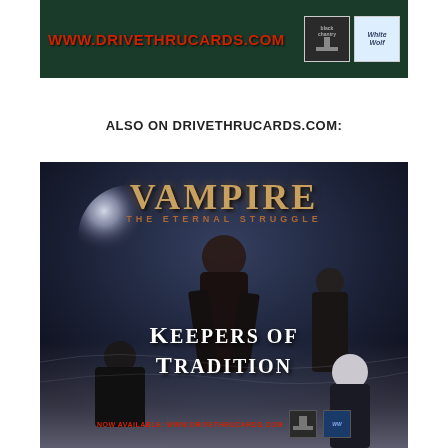[Figure (illustration): Banner advertisement for www.drivethrucards.com with red URL text on dark green background, with Black Chantry and White Wolf logos on the right]
ALSO ON DRIVETHRUCARDS.COM:
[Figure (illustration): Vampire: The Eternal Struggle - Keepers of Tradition card game advertisement. Dark atmospheric image showing vampire figures in mist with moonlight. Title text reads VAMPIRE THE ETERNAL STRUGGLE at top and KEEPERS OF TRADITION at bottom. Text at bottom: NOW AVAILABLE: WWW.DRIVETHRUCARDS.COM with Black Chantry and White Wolf logos.]